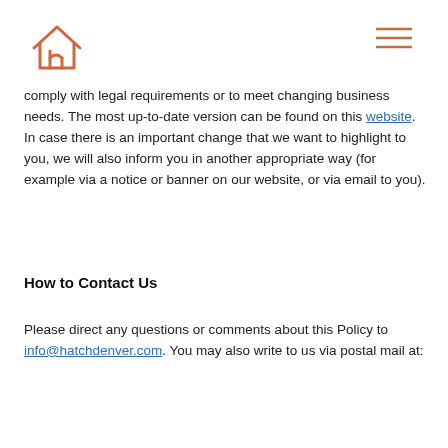Hatch Denver logo and navigation
comply with legal requirements or to meet changing business needs. The most up-to-date version can be found on this website. In case there is an important change that we want to highlight to you, we will also inform you in another appropriate way (for example via a notice or banner on our website, or via email to you).
How to Contact Us
Please direct any questions or comments about this Policy to info@hatchdenver.com. You may also write to us via postal mail at: